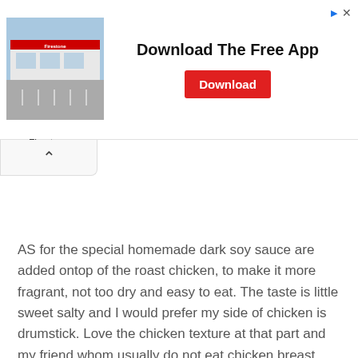[Figure (other): Advertisement banner for Firestone app download. Shows a Firestone store building image on the left, bold text 'Download The Free App' in the center, and a red 'Download' button. Firestone logo/brand name shown below.]
AS for the special homemade dark soy sauce are added ontop of the roast chicken, to make it more fragrant, not too dry and easy to eat. The taste is little sweet salty and I would prefer my side of chicken is drumstick. Love the chicken texture at that part and my friend whom usually do not eat chicken breast and he would only eat here as